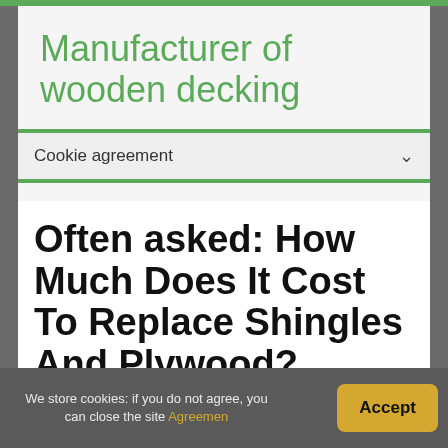Manufacturer of wooden decking
Cookie agreement
Often asked: How Much Does It Cost To Replace Shingles And Plywood?
We store cookies: if you do not agree, you can close the site Agreemen
Accept